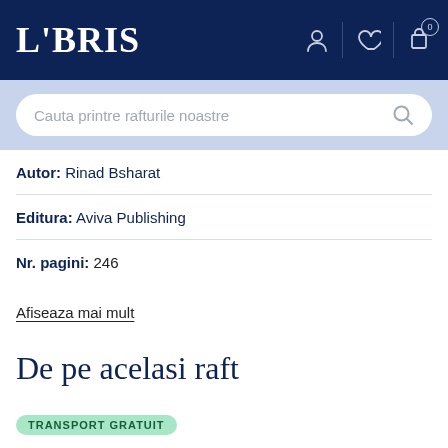LIBRIS
Cauta printre rafturile noastre
Autor: Rinad Bsharat
Editura: Aviva Publishing
Nr. pagini: 246
Afiseaza mai mult
De pe acelasi raft
TRANSPORT GRATUIT